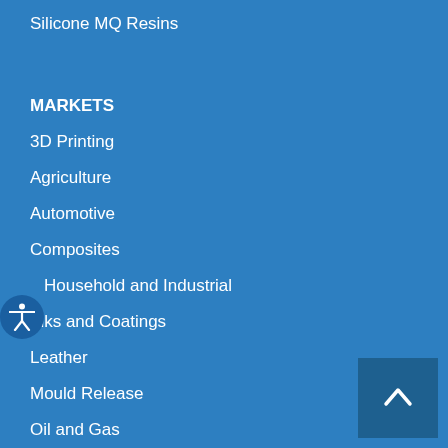Silicone MQ Resins
MARKETS
3D Printing
Agriculture
Automotive
Composites
Household and Industrial
Inks and Coatings
Leather
Mould Release
Oil and Gas
Personal Care
Polyurethane Foam
Pulp and Paper